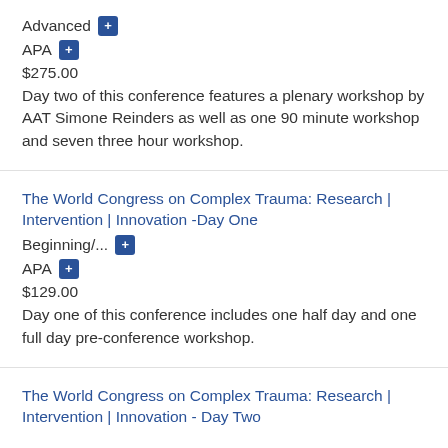Advanced +
APA +
$275.00
Day two of this conference features a plenary workshop by AAT Simone Reinders as well as one 90 minute workshop and seven three hour workshop.
The World Congress on Complex Trauma: Research | Intervention | Innovation -Day One
Beginning/... +
APA +
$129.00
Day one of this conference includes one half day and one full day pre-conference workshop.
The World Congress on Complex Trauma: Research | Intervention | Innovation - Day Two